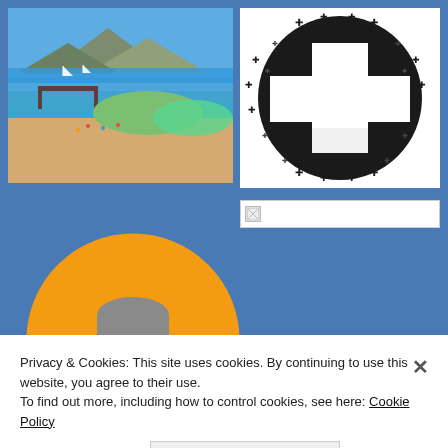[Figure (photo): Aerial or elevated view of a beach with blue water, a pier/dock, people on the beach, green vegetation, and mountains in the background under a blue sky.]
[Figure (illustration): Black and white graphic of a Christian cross centered in a cloud of small cross shapes, forming a circular decorative pattern.]
[Figure (photo): A broken/missing image placeholder with a small icon on a white background.]
[Figure (photo): A middle-aged man with gray beard and light olive t-shirt, shown from shoulders up, posed with arms crossed, inside a circular orange frame with a blue border, on an orange/yellow background.]
Privacy & Cookies: This site uses cookies. By continuing to use this website, you agree to their use.
To find out more, including how to control cookies, see here: Cookie Policy
Close and accept